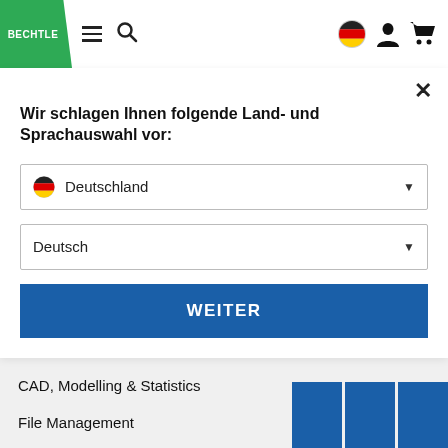[Figure (logo): Bechtle green parallelogram logo with white BECHTLE text]
Wir schlagen Ihnen folgende Land- und Sprachauswahl vor:
Deutschland (dropdown selection)
Deutsch (dropdown selection)
WEITER
CAD, Modelling & Statistics
File Management
Tools & Utilities